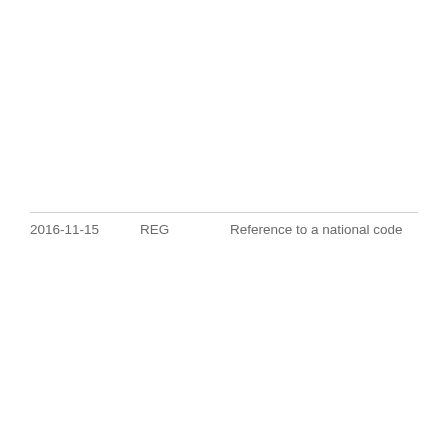| Date | Type | Description |
| --- | --- | --- |
| 2016-11-15 | REG | Reference to a national code |